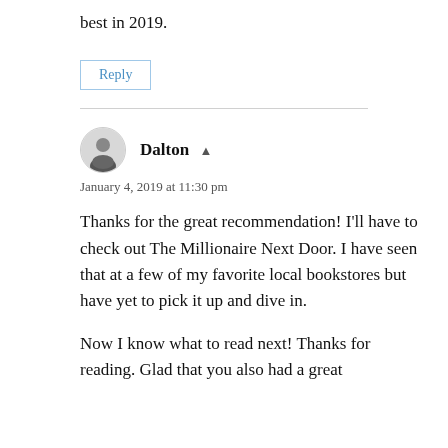best in 2019.
Reply
Dalton
January 4, 2019 at 11:30 pm
Thanks for the great recommendation! I'll have to check out The Millionaire Next Door. I have seen that at a few of my favorite local bookstores but have yet to pick it up and dive in.
Now I know what to read next! Thanks for reading. Glad that you also had a great